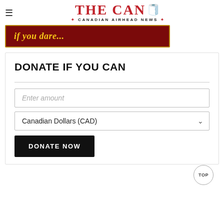THE CAN — CANADIAN AIRHEAD NEWS
[Figure (other): Dark red banner with yellow italic bold text reading 'if you dare...']
DONATE IF YOU CAN
Enter amount
Canadian Dollars (CAD)
DONATE NOW